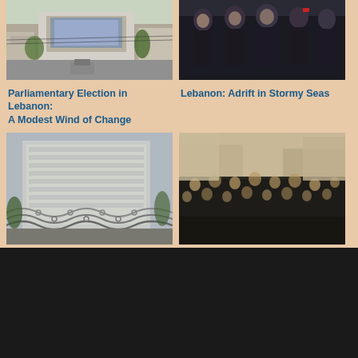[Figure (photo): Street scene with billboard showing a politician, vehicles on road, urban Lebanon]
[Figure (photo): Group of women in black clothing, Lebanon protest or mourning gathering]
Parliamentary Election in Lebanon: A Modest Wind of Change
Lebanon: Adrift in Stormy Seas
[Figure (photo): Large building surrounded by barbed wire fencing, Lebanese bank or government building]
[Figure (photo): Large crowd of protesters in Iraqi Kurdish city street]
The Downward Spiral of Lebanese and Syrian Currencies
When Iraqi Kurds demand change
[Figure (logo): Orient XXI logo - concentric circles in orange, red, dark colors]
Support Orient XXI
Who we are
Why this website?